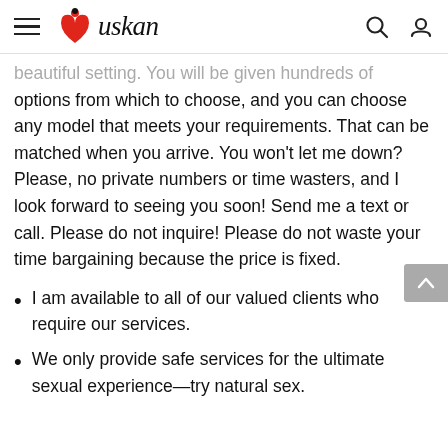Muskan
beautiful setting. You will be given hundreds of options from which to choose, and you can choose any model that meets your requirements. That can be matched when you arrive. You won’t let me down? Please, no private numbers or time wasters, and I look forward to seeing you soon! Send me a text or call. Please do not inquire! Please do not waste your time bargaining because the price is fixed.
I am available to all of our valued clients who require our services.
We only provide safe services for the ultimate sexual experience—try natural sex.